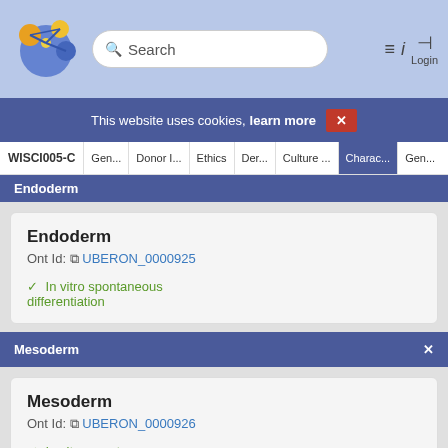[Figure (logo): Circular interconnected nodes logo in blue, orange, and yellow]
Search  Login
This website uses cookies, learn more  X
WISCI005-C  Gen...  Donor I...  Ethics  Der...  Culture ...  Charac...  Gen...
Endoderm
Endoderm
Ont Id: UBERON_0000925
✓ In vitro spontaneous differentiation
Mesoderm
Mesoderm
Ont Id: UBERON_0000926
✓ In vitro spontaneous differentiation